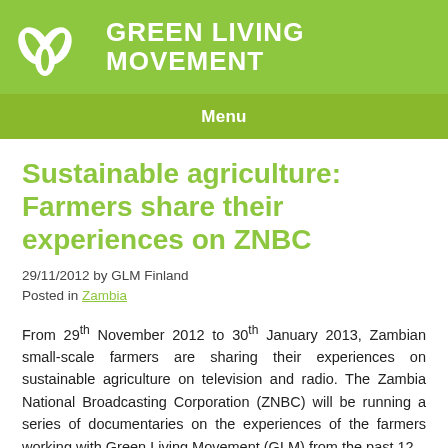GREEN LIVING MOVEMENT
Menu
Sustainable agriculture: Farmers share their experiences on ZNBC
29/11/2012 by GLM Finland
Posted in Zambia
From 29th November 2012 to 30th January 2013, Zambian small-scale farmers are sharing their experiences on sustainable agriculture on television and radio. The Zambia National Broadcasting Corporation (ZNBC) will be running a series of documentaries on the experiences of the farmers working with Green Living Movement (GLM) from the past 12